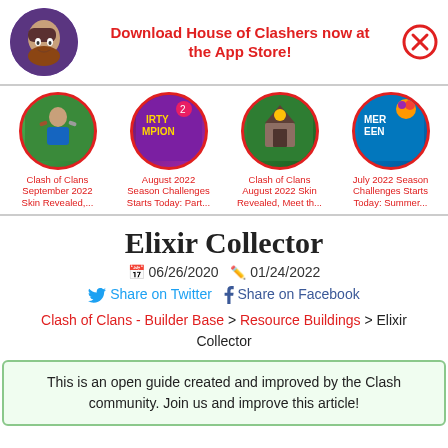[Figure (infographic): App store download banner with game avatar, text prompt, and close button]
[Figure (infographic): Navigation row with four circular game thumbnails and link titles]
Elixir Collector
06/26/2020  01/24/2022
Share on Twitter  Share on Facebook
Clash of Clans - Builder Base > Resource Buildings > Elixir Collector
This is an open guide created and improved by the Clash community. Join us and improve this article!